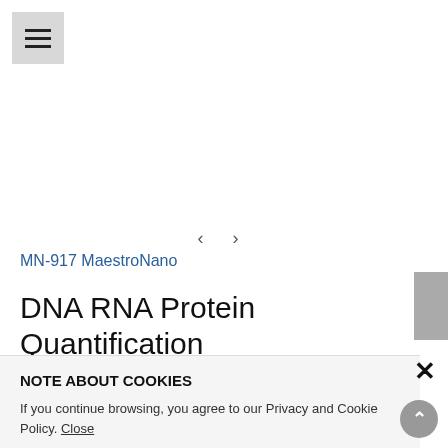[Figure (other): Hamburger menu icon button with three horizontal lines on grey background]
[Figure (other): Carousel navigation arrows (left and right chevrons)]
MN-917 MaestroNano
DNA RNA Protein Quantification Spectrophotometer
Description
New Product! Now Launch!
MaestroNano is a spectrophotometer for micro-droplet
NOTE ABOUT COOKIES
If you continue browsing, you agree to our Privacy and Cookie Policy. Close